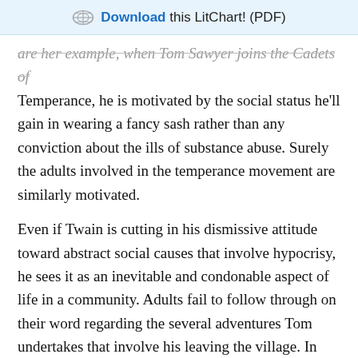Download this LitChart! (PDF)
are her example, when Tom Sawyer joins the Cadets of Temperance, he is motivated by the social status he'll gain in wearing a fancy sash rather than any conviction about the ills of substance abuse. Surely the adults involved in the temperance movement are similarly motivated.
Even if Twain is cutting in his dismissive attitude toward abstract social causes that involve hypocrisy, he sees it as an inevitable and condonable aspect of life in a community. Adults fail to follow through on their word regarding the several adventures Tom undertakes that involve his leaving the village. In running away to Jackson's Island, getting lost in the cave, and tracking down Injun Joe's treasure, Tom and his friends break serious rules, yet in each case the villagers welcome the children home again without punishing them. The adults can hardly be condemned for